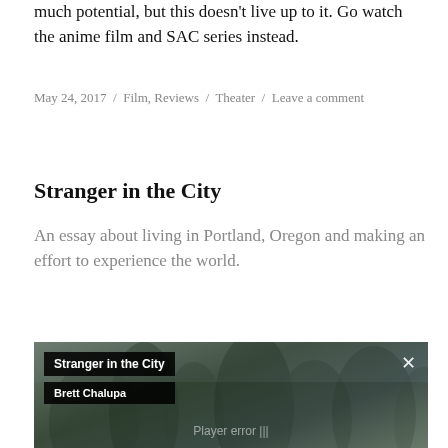much potential, but this doesn't live up to it. Go watch the anime film and SAC series instead.
May 24, 2017 / Film, Reviews / Theater / Leave a comment
Stranger in the City
An essay about living in Portland, Oregon and making an effort to experience the world.
[Figure (screenshot): Video player screenshot showing 'Stranger in the City' by Brett Chalupa with tree/forest background and a player error message overlay]